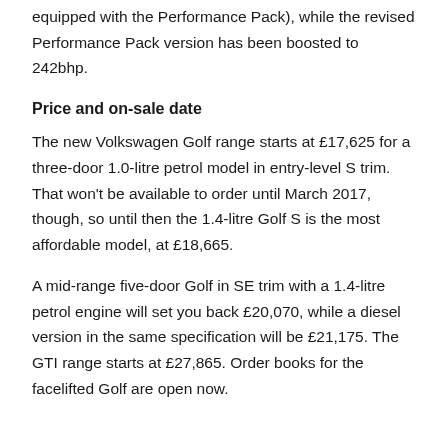equipped with the Performance Pack), while the revised Performance Pack version has been boosted to 242bhp.
Price and on-sale date
The new Volkswagen Golf range starts at £17,625 for a three-door 1.0-litre petrol model in entry-level S trim. That won't be available to order until March 2017, though, so until then the 1.4-litre Golf S is the most affordable model, at £18,665.
A mid-range five-door Golf in SE trim with a 1.4-litre petrol engine will set you back £20,070, while a diesel version in the same specification will be £21,175. The GTI range starts at £27,865. Order books for the facelifted Golf are open now.